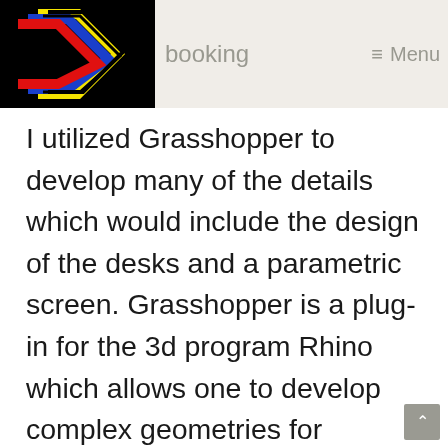booking  ≡ Menu
I utilized Grasshopper to develop many of the details which would include the design of the desks and a parametric screen. Grasshopper is a plug-in for the 3d program Rhino which allows one to develop complex geometries for fabrication.  The Shorex space is a place where one can book a shore excursion for example if one wants to book a snorkeling trip, they can go there.  The design is very much inspired by the Next Cruise space to give the guest an exciting feeling.  Lastly my team and I did a